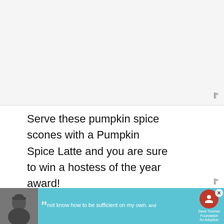[Figure (photo): Gray top area placeholder image region]
Serve these pumpkin spice scones with a Pumpkin Spice Latte and you are sure to win a hostess of the year award!
This post contains affiliate links.
KITCHEN ESSENTIALS FOR
[Figure (photo): What's Next panel: thumbnail of pumpkin spice caramel item with label 'WHAT'S NEXT → Pumpkin Spice Caram...']
[Figure (photo): Advertisement banner: person in beanie hat with quote 'not know how to be sufficient on my own.' and Dave Thomas Foundation for Adoption logo]